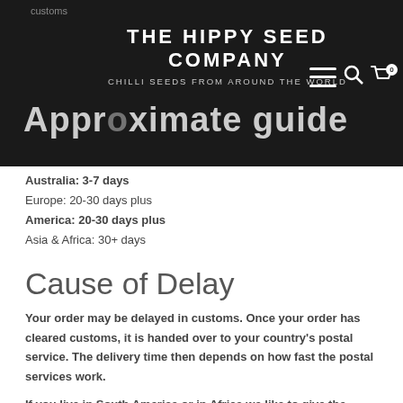customs
THE HIPPY SEED COMPANY
CHILLI SEEDS FROM AROUND THE WORLD
Approximate guide
Australia: 3-7 days
Europe: 20-30 days plus
America: 20-30 days plus
Asia & Africa: 30+ days
Cause of Delay
Your order may be delayed in customs. Once your order has cleared customs, it is handed over to your country's postal service. The delivery time then depends on how fast the postal services work.
If you live in South America or in Africa we like to give the seeds at least a 6 week chance to show up.
For more information about receiving chilli seeds outside